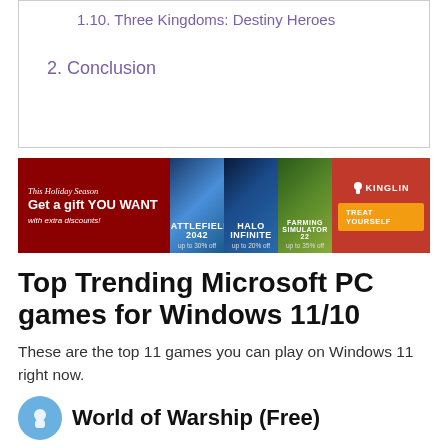1.10. Three Kingdoms: Destiny Heroes
2. Conclusion
[Figure (infographic): Holiday season advertisement banner for Kinglin gaming store featuring Battlefield 2042 (up to 30% off), Halo Infinite (up to 20% off), and Farming Simulator 22 (up to 35% off). Text reads: This Holiday Season Get a gift YOU WANT with extra discounts! TREAT YOURSELF]
Top Trending Microsoft PC games for Windows 11/10
These are the top 11 games you can play on Windows 11 right now.
World of Warship (Free)